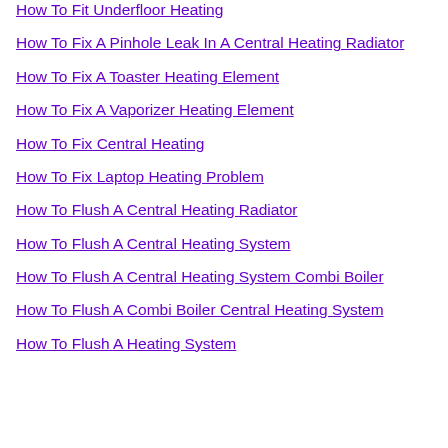How To Fit Underfloor Heating
How To Fix A Pinhole Leak In A Central Heating Radiator
How To Fix A Toaster Heating Element
How To Fix A Vaporizer Heating Element
How To Fix Central Heating
How To Fix Laptop Heating Problem
How To Flush A Central Heating Radiator
How To Flush A Central Heating System
How To Flush A Central Heating System Combi Boiler
How To Flush A Combi Boiler Central Heating System
How To Flush A Heating System